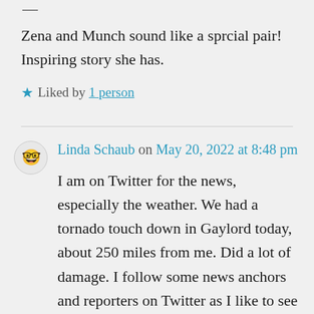—
Zena and Munch sound like a sprcial pair! Inspiring story she has.
★ Liked by 1 person
Linda Schaub on May 20, 2022 at 8:48 pm
I am on Twitter for the news, especially the weather. We had a tornado touch down in Gaylord today, about 250 miles from me. Did a lot of damage. I follow some news anchors and reporters on Twitter as I like to see events they've reported